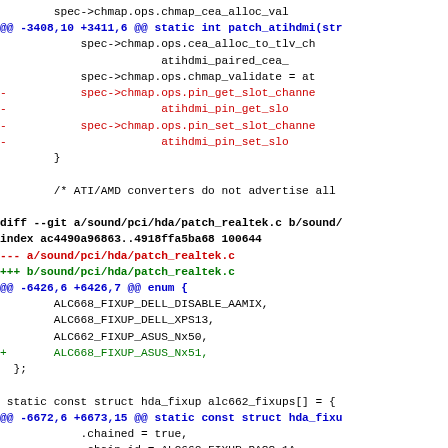Code diff showing changes to patch_atihdmi and patch_realtek in Linux kernel sound driver